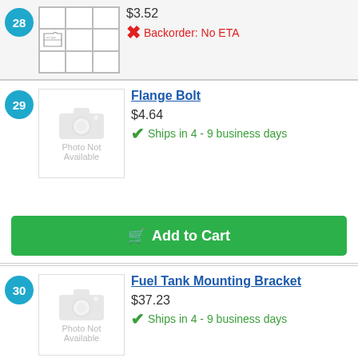Item 28 (partial) - $3.52 - Backorder: No ETA
29 - Flange Bolt - $4.64 - Ships in 4 - 9 business days
Add to Cart
30 - Fuel Tank Mounting Bracket - $37.23 - Ships in 4 - 9 business days